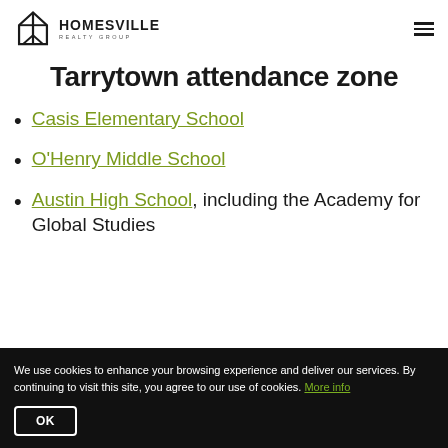Homesville Realty Group
Tarrytown attendance zone
Casis Elementary School
O'Henry Middle School
Austin High School, including the Academy for Global Studies
We use cookies to enhance your browsing experience and deliver our services. By continuing to visit this site, you agree to our use of cookies. More info
OK